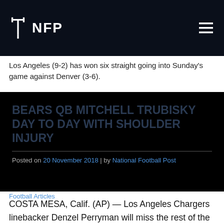NFP
Los Angeles (9-2) has won six straight going into Sunday's game against Denver (3-6).
BEARS QB MITCHELL TRUBISKY DAY TO DAY WITH SHOULDER INJURY
Posted on 20 November 2018 | by National Football Post
Football Articles
COSTA MESA, Calif. (AP) — Los Angeles Chargers linebacker Denzel Perryman will miss the rest of the season because of a knee injury.